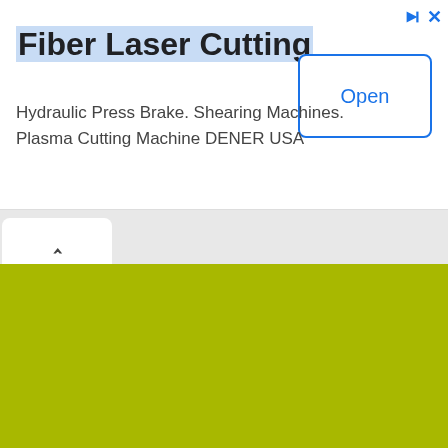Fiber Laser Cutting
Hydraulic Press Brake. Shearing Machines. Plasma Cutting Machine DENER USA
[Figure (screenshot): Advertisement banner with Open button, chevron tab bar, and yellow-green content area below]
Open